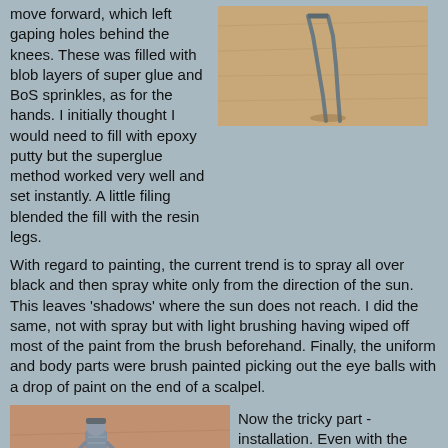move forward, which left gaping holes behind the knees. These was filled with blob layers of super glue and BoS sprinkles, as for the hands. I initially thought I would need to fill with epoxy putty but the superglue method worked very well and set instantly. A little filing blended the fill with the resin legs.
[Figure (photo): Close-up photo of miniature figure legs/feet on a wooden surface, showing metal pin or wire attachment]
With regard to painting, the current trend is to spray all over black and then spray white only from the direction of the sun. This leaves 'shadows' where the sun does not reach. I did the same, not with spray but with light brushing having wiped off most of the paint from the brush beforehand. Finally, the uniform and body parts were brush painted picking out the eye balls with a drop of paint on the end of a scalpel.
[Figure (photo): Photo of a painted miniature soldier figure held in hand, showing detailed uniform painting]
Now the tricky part - installation. Even with the lower legs moved forward he